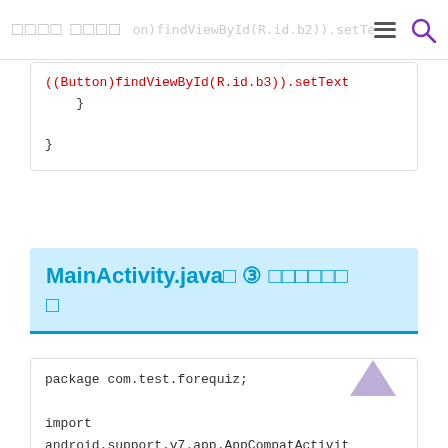□□□□ □□□□  ((Button)findViewById(R.id.b2)).setText
((Button)findViewById(R.id.b3)).setText
    }
}
MainActivity.java□ ③ □□□□□□□
package com.test.forequiz;

import
android.support.v7.app.AppCompatActivit